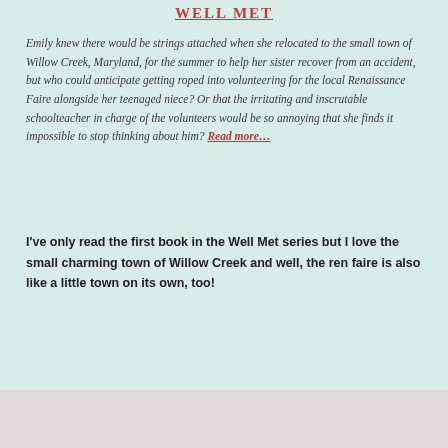WELL MET
Emily knew there would be strings attached when she relocated to the small town of Willow Creek, Maryland, for the summer to help her sister recover from an accident, but who could anticipate getting roped into volunteering for the local Renaissance Faire alongside her teenaged niece? Or that the irritating and inscrutable schoolteacher in charge of the volunteers would be so annoying that she finds it impossible to stop thinking about him? Read more…
I've only read the first book in the Well Met series but I love the small charming town of Willow Creek and well, the ren faire is also like a little town on its own, too!